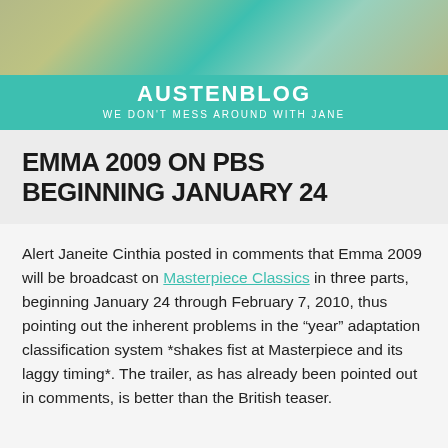AUSTENBLOG
WE DON'T MESS AROUND WITH JANE
EMMA 2009 ON PBS BEGINNING JANUARY 24
Alert Janeite Cinthia posted in comments that Emma 2009 will be broadcast on Masterpiece Classics in three parts, beginning January 24 through February 7, 2010, thus pointing out the inherent problems in the “year” adaptation classification system *shakes fist at Masterpiece and its laggy timing*. The trailer, as has already been pointed out in comments, is better than the British teaser.